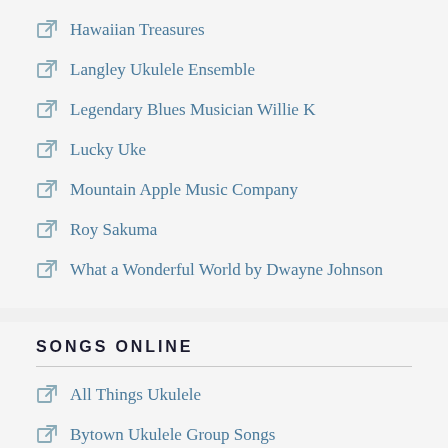Hawaiian Treasures
Langley Ukulele Ensemble
Legendary Blues Musician Willie K
Lucky Uke
Mountain Apple Music Company
Roy Sakuma
What a Wonderful World by Dwayne Johnson
SONGS ONLINE
All Things Ukulele
Bytown Ukulele Group Songs
Country Tabs
Doctor Uke